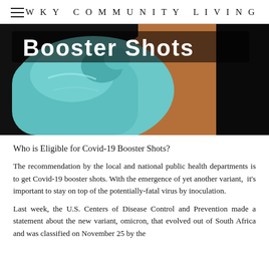WKY Community Living
[Figure (photo): A gloved hand administering a vaccine injection into a person's arm, with 'Booster Shots' text overlay in bold white letters on a dark background.]
Who is Eligible for Covid-19 Booster Shots?
The recommendation by the local and national public health departments is to get Covid-19 booster shots. With the emergence of yet another variant, it's important to stay on top of the potentially-fatal virus by inoculation.
Last week, the U.S. Centers of Disease Control and Prevention made a statement about the new variant, omicron, that evolved out of South Africa and was classified on November 25 by the